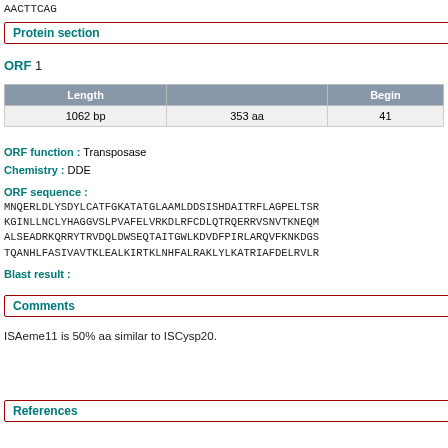AACTTCAG
Protein section
ORF 1
| Length |  | Begin |
| --- | --- | --- |
| 1062 bp | 353 aa | 41 |
ORF function : Transposase
Chemistry : DDE
ORF sequence :
MNQERLDLYSDYLCATFGKATATGLAAMLDDSI SHDAITRFLAGPELTSR KGINLLNCLYHAGGVSLPVAFELVRKDLRFCDLQTRQERRVSNVTKNEQM ALSEADRKQRRYTRVDQLDWSEQTAITGWLKDVDFPIRLARQVFKNKDGS TQANHLFASIVAVTK LEALKIRTKLNHFALRAKLYLKATRIAFDELRVLR
Blast result :
Comments
ISAeme11 is 50% aa similar to ISCysp20.
References